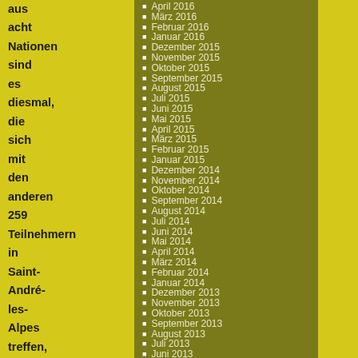aus acht Nationen sind es diesmal, die sich mit den anderen 259 Teilnehmern in Saint-André-les-Alpes treffen, um im Anschluss die Wertungsprüf
April 2016
März 2016
Februar 2016
Januar 2016
Dezember 2015
November 2015
Oktober 2015
September 2015
August 2015
Juli 2015
Juni 2015
Mai 2015
April 2015
März 2015
Februar 2015
Januar 2015
Dezember 2014
November 2014
Oktober 2014
September 2014
August 2014
Juli 2014
Juni 2014
Mai 2014
April 2014
März 2014
Februar 2014
Januar 2014
Dezember 2013
November 2013
Oktober 2013
September 2013
August 2013
Juli 2013
Juni 2013
Mai 2013
April 2013
März 2013